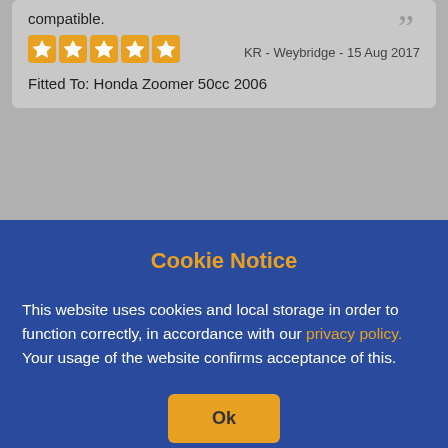compatible.
KR - Weybridge - 15 Aug 2017
Fitted To: Honda Zoomer 50cc 2006
Cookie Notice
This website uses cookies and local storage in order to function correctly, in accordance with our privacy policy. Your usage of the website confirms acceptance of this.
Ok
[Figure (logo): WhatsApp green phone bubble icon]
[Figure (logo): Tayna logo with lightning bolt battery icon and blue Tayna text]